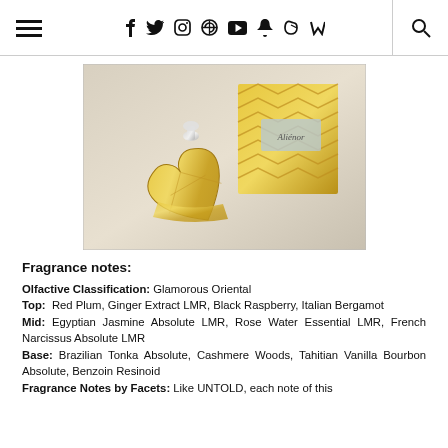≡  f  𝕥  📷  𝗽  ▶  👻  )))  🔍
[Figure (photo): A gold heart-shaped perfume bottle with crystal stopper lying on its side, next to a gold chevron-patterned square box, on a light grey surface.]
Fragrance notes:
Olfactive Classification: Glamorous Oriental
Top: Red Plum, Ginger Extract LMR, Black Raspberry, Italian Bergamot
Mid: Egyptian Jasmine Absolute LMR, Rose Water Essential LMR, French Narcissus Absolute LMR
Base: Brazilian Tonka Absolute, Cashmere Woods, Tahitian Vanilla Bourbon Absolute, Benzoin Resinoid
Fragrance Notes by Facets: Like UNTOLD, each note of this